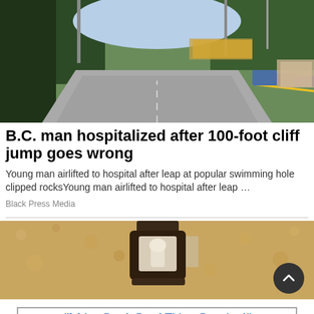[Figure (photo): A road leading toward a parking area with trees and signage in the background, cars visible on the right side]
B.C. man hospitalized after 100-foot cliff jump goes wrong
Young man airlifted to hospital after leap at popular swimming hole clipped rocksYoung man airlifted to hospital after leap …
Black Press Media
[Figure (photo): Close-up of an outdoor wall light fixture mounted on a stone or stucco wall]
"We've Got A Good Thing Growing!"
www.salmonarmfair.com